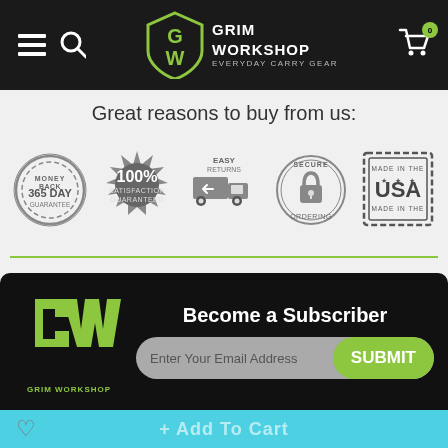[Figure (logo): Grim Workshop navigation bar with hamburger menu, search icon, GW shield logo with text GRIM WORKSHOP EVERYDAY CARRY GEAR, and shopping cart with 0 badge]
Great reasons to buy from us:
[Figure (illustration): Five trust badge icons: 365 Day Money Back Guarantee, 100% Satisfaction Guaranteed, Easy Returns truck, Secure Ordering padlock, Made in the USA stamp]
Description
Large "Grim Skull" Sticker
[Figure (logo): Grim Workshop subscriber popup with GW green logo, Become a Subscriber heading, email input field and green SUBMIT button]
Become a Subscriber
Enter Your Email Address
SUBMIT
+ Add To Cart